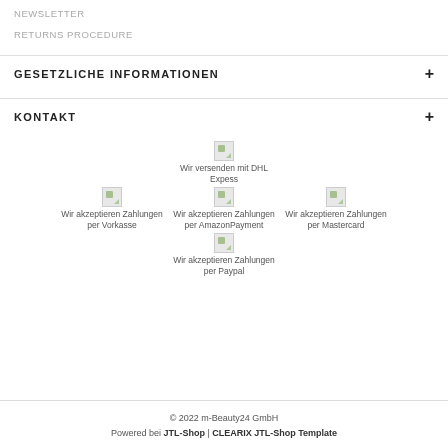NEWSLETTER
RETURNS PROCEDURE
GESETZLICHE INFORMATIONEN +
KONTAKT +
[Figure (other): Payment and shipping icons: Wir versenden mit DHL Expess; Wir akzeptieren Zahlungen per Vorkasse; Wir akzeptieren Zahlungen per AmazonPayment; Wir akzeptieren Zahlungen per Mastercard; Wir akzeptieren Zahlungen per Paypal]
© 2022 m-Beauty24 GmbH Powered bei JTL-Shop | CLEARIX JTL-Shop Template